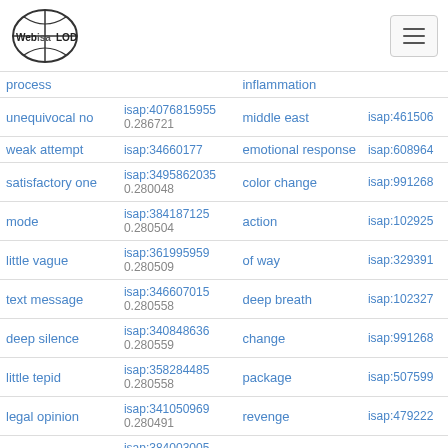Web isa LOD [logo] [hamburger menu]
| Term | ISAP ID | Related Term | ISAP ID |
| --- | --- | --- | --- |
| process |  | inflammation |  |
| unequivocal no | isap:4076815955 | middle east 0.286721 | isap:461506 |
| weak attempt | isap:34660177 | emotional response | isap:608964 |
| satisfactory one | isap:3495862035 | 0.280048 color change | isap:991268 |
| mode | isap:384187125 | 0.280504 action | isap:102925 |
| little vague | isap:361995959 | 0.280509 of way | isap:329391 |
| text message | isap:346607015 | 0.280558 deep breath | isap:102327 |
| deep silence | isap:340848636 | 0.280559 change | isap:991268 |
| little tepid | isap:358284485 | 0.280558 package | isap:507599 |
| legal opinion | isap:341050969 | 0.280491 revenge | isap:479222 |
| out of line | isap:384003005 | 0.280358 assessment | isap:284570 |